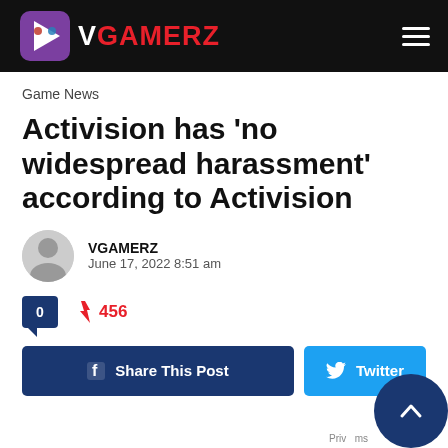VGAMERZ
Game News
Activision has 'no widespread harassment' according to Activision
VGAMERZ
June 17, 2022 8:51 am
0  ⚡ 456
f  Share This Post    Twitter